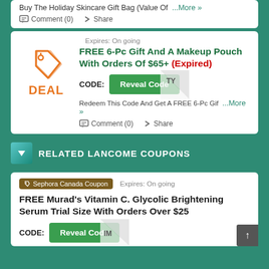Buy The Holiday Skincare Gift Bag (Value Of ...More »
Comment (0) Share
Expires: On going
FREE 6-Pc Gift And A Makeup Pouch With Orders Of $65+ (Expired)
CODE: Reveal Code ...TY
Redeem This Code And Get A FREE 6-Pc Gif ...More »
Comment (0) Share
RELATED LANCOME COUPONS
Sephora Canada Coupon  Expires: On going
FREE Murad's Vitamin C. Glycolic Brightening Serum Trial Size With Orders Over $25
CODE: Reveal Code ...IM